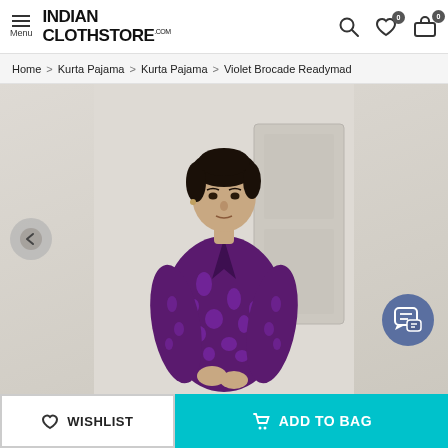INDIAN CLOTHSTORE.COM | Menu | Search | Wishlist 0 | Cart 0
Home > Kurta Pajama > Kurta Pajama > Violet Brocade Readymad
[Figure (photo): Male model wearing a violet/purple brocade kurta, standing in front of a light grey wall with a door panel. A back navigation arrow and chat icon are visible.]
WISHLIST
ADD TO BAG